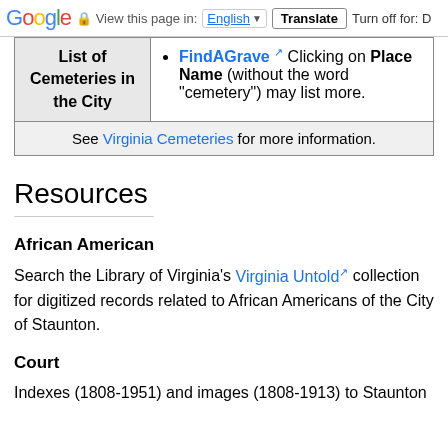Google  View this page in: English  Translate  Turn off for: D
| List of Cemeteries in the City | FindAGrave [external link] Clicking on Place Name (without the word "cemetery") may list more. |
| See Virginia Cemeteries for more information. |  |
Resources
African American
Search the Library of Virginia's Virginia Untold [external link] collection for digitized records related to African Americans of the City of Staunton.
Court
Indexes (1808-1951) and images (1808-1913) to Staunton